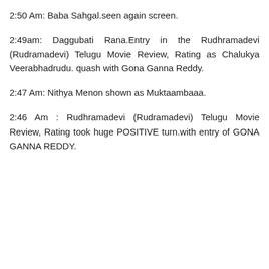2:50 Am: Baba Sahgal.seen again screen.
2:49am: Daggubati Rana.Entry in the Rudhramadevi (Rudramadevi) Telugu Movie Review, Rating as Chalukya Veerabhadrudu. quash with Gona Ganna Reddy.
2:47 Am: Nithya Menon shown as Muktaambaaa.
2:46 Am : Rudhramadevi (Rudramadevi) Telugu Movie Review, Rating took huge POSITIVE turn.with entry of GONA GANNA REDDY.